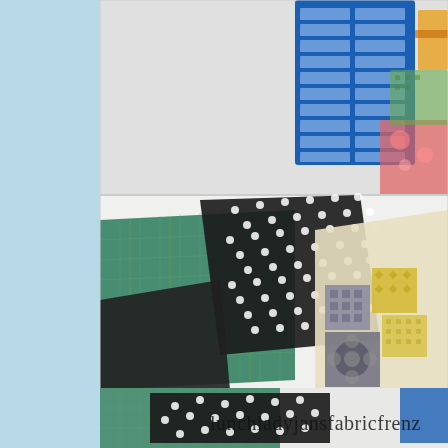[Figure (photo): A sewing/crafting workspace with a white table, a green cutting mat, black and white polka dot fabric, a patchwork quilt piece in grey/yellow/cream, and a blue drawer organizer with craft supplies in the background.]
It's like a flashback to approximately six weeks ago when I first to make a bag for a giveaway but it all went to pot following the my shelves so that is what I shall be making this week!
[Figure (photo): Bottom portion of a photo showing a cutting mat and black polka dot fabric, with a handwritten watermark reading 'lunchladyjansfabricfrenz']